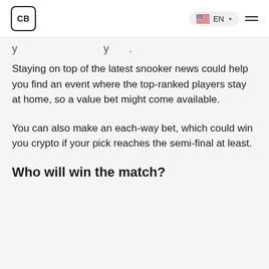CB | EN
Staying on top of the latest snooker news could help you find an event where the top-ranked players stay at home, so a value bet might come available.
You can also make an each-way bet, which could win you crypto if your pick reaches the semi-final at least.
Who will win the match?